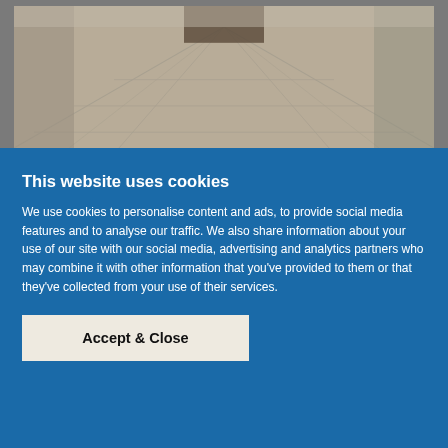[Figure (photo): Interior hallway/corridor photo showing tiled floor in beige/cream tones with perspective view down the hall, dark doorway visible at the end]
Upon entering the hallway, there is an open-plan Kitchen/dining/living room. There are up to five bedrooms on the upper floor.

A double bedroom, a shower room and the first room on the right is the main bathroom, followed by a single bedroom and then the main bedroom, which has an en-suite.
This website uses cookies

We use cookies to personalise content and ads, to provide social media features and to analyse our traffic. We also share information about your use of our site with our social media, advertising and analytics partners who may combine it with other information that you've provided to them or that they've collected from your use of their services.

Accept & Close